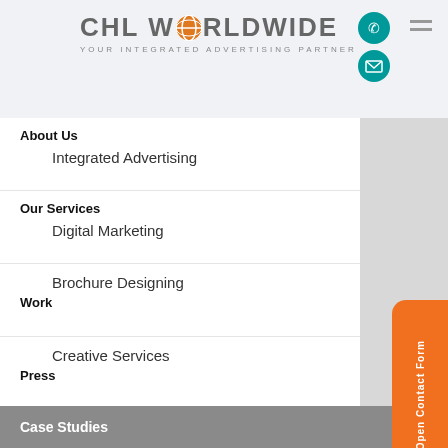[Figure (logo): CHL Worldwide logo with globe icon and tagline 'YOUR INTEGRATED ADVERTISING PARTNER']
About Us / Integrated Advertising
Our Services / Digital Marketing
Work / Brochure Designing
Press / Creative Services
Our Associates / Brand Communication
Services for Startups
Blog
Case Studies